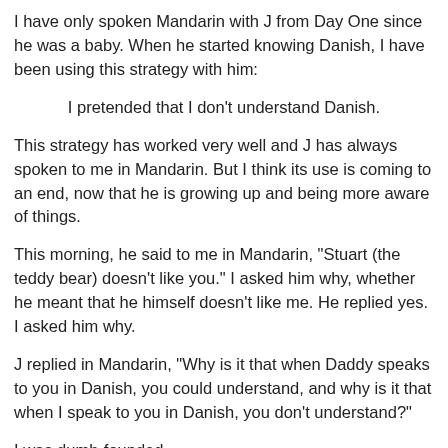I have only spoken Mandarin with J from Day One since he was a baby. When he started knowing Danish, I have been using this strategy with him:
I pretended that I don't understand Danish.
This strategy has worked very well and J has always spoken to me in Mandarin. But I think its use is coming to an end, now that he is growing up and being more aware of things.
This morning, he said to me in Mandarin, "Stuart (the teddy bear) doesn't like you." I asked him why, whether he meant that he himself doesn't like me. He replied yes. I asked him why.
J replied in Mandarin, "Why is it that when Daddy speaks to you in Danish, you could understand, and why is it that when I speak to you in Danish, you don't understand?"
I was dumb-founded.
It caught me by surprise and I didn't quite know how to